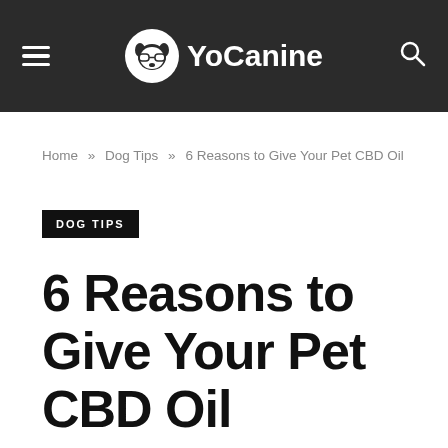YoCanine
Home » Dog Tips » 6 Reasons to Give Your Pet CBD Oil
DOG TIPS
6 Reasons to Give Your Pet CBD Oil